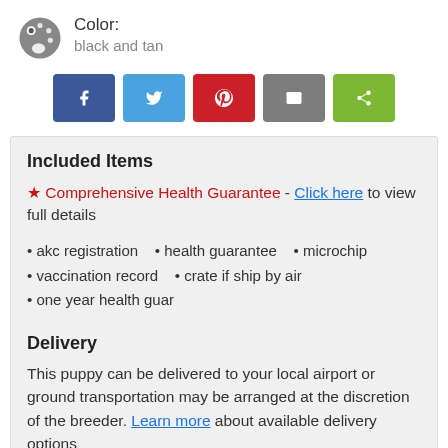Color: black and tan
[Figure (infographic): Social share buttons: Facebook (blue), Twitter (light blue), Pinterest (red), Email (gray), Share (green)]
Included Items
★ Comprehensive Health Guarantee - Click here to view full details
akc registration
health guarantee
microchip
vaccination record
crate if ship by air
one year health guar
Delivery
This puppy can be delivered to your local airport or ground transportation may be arranged at the discretion of the breeder. Learn more about available delivery options.